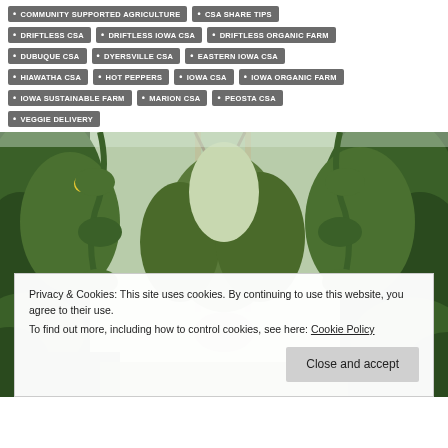COMMUNITY SUPPORTED AGRICULTURE
CSA SHARE TIPS
DRIFTLESS CSA
DRIFTLESS IOWA CSA
DRIFTLESS ORGANIC FARM
DUBUQUE CSA
DYERSVILLE CSA
EASTERN IOWA CSA
HIAWATHA CSA
HOT PEPPERS
IOWA CSA
IOWA ORGANIC FARM
IOWA SUSTAINABLE FARM
MARION CSA
PEOSTA CSA
VEGGIE DELIVERY
[Figure (photo): Greenhouse interior with lush green plants, cucumber vines, and a view through the center to outdoor trees and sky. Vertical support poles and polyethylene covering visible.]
Privacy & Cookies: This site uses cookies. By continuing to use this website, you agree to their use.
To find out more, including how to control cookies, see here: Cookie Policy
Close and accept